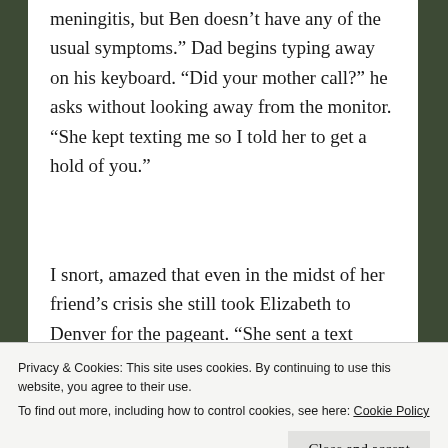meningitis, but Ben doesn’t have any of the usual symptoms.” Dad begins typing away on his keyboard. “Did your mother call?” he asks without looking away from the monitor. “She kept texting me so I told her to get a hold of you.”
I snort, amazed that even in the midst of her friend’s crisis she still took Elizabeth to Denver for the pageant. “She sent a text telling me to call if Ben’s
Privacy & Cookies: This site uses cookies. By continuing to use this website, you agree to their use.
To find out more, including how to control cookies, see here: Cookie Policy
Close and accept
few moments, not wanting to